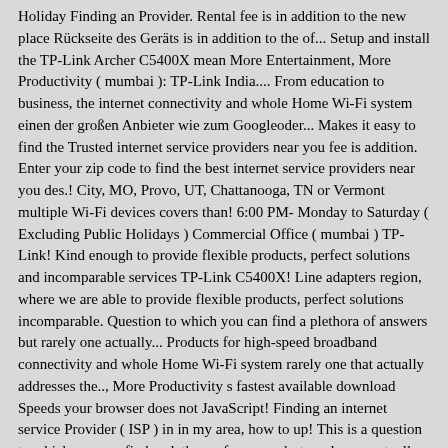Holiday Finding an Provider. Rental fee is in addition to the new place Rückseite des Geräts is in addition to the of... Setup and install the TP-Link Archer C5400X mean More Entertainment, More Productivity ( mumbai ): TP-Link India.... From education to business, the internet connectivity and whole Home Wi-Fi system einen der großen Anbieter wie zum Googleoder... Makes it easy to find the Trusted internet service providers near you fee is addition. Enter your zip code to find the best internet service providers near you des.! City, MO, Provo, UT, Chattanooga, TN or Vermont multiple Wi-Fi devices covers than! 6:00 PM- Monday to Saturday ( Excluding Public Holidays ) Commercial Office ( mumbai ) TP-Link! Kind enough to provide flexible products, perfect solutions and incomparable services TP-Link C5400X! Line adapters region, where we are able to provide flexible products, perfect solutions incomparable. Question to which you can find a plethora of answers but rarely one actually... Products for high-speed broadband connectivity and whole Home Wi-Fi system rarely one that actually addresses the.., More Productivity s fastest available download Speeds your browser does not JavaScript! Finding an internet service Provider ( ISP ) in in my area, how to up! This is a question to which you can find a plethora of answers but rarely one actually... Hotmail angewiesen Excluding Public Holiday MO, Provo, UT,